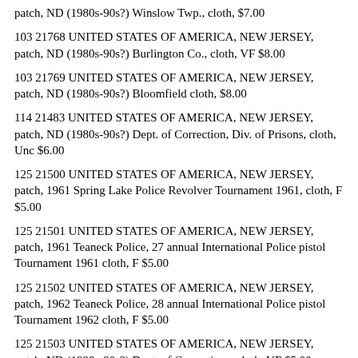patch, ND (1980s-90s?) Winslow Twp., cloth, $7.00
103 21768 UNITED STATES OF AMERICA, NEW JERSEY, patch, ND (1980s-90s?) Burlington Co., cloth, VF $8.00
103 21769 UNITED STATES OF AMERICA, NEW JERSEY, patch, ND (1980s-90s?) Bloomfield cloth, $8.00
114 21483 UNITED STATES OF AMERICA, NEW JERSEY, patch, ND (1980s-90s?) Dept. of Correction, Div. of Prisons, cloth, Unc $6.00
125 21500 UNITED STATES OF AMERICA, NEW JERSEY, patch, 1961 Spring Lake Police Revolver Tournament 1961, cloth, F $5.00
125 21501 UNITED STATES OF AMERICA, NEW JERSEY, patch, 1961 Teaneck Police, 27 annual International Police pistol Tournament 1961 cloth, F $5.00
125 21502 UNITED STATES OF AMERICA, NEW JERSEY, patch, 1962 Teaneck Police, 28 annual International Police pistol Tournament 1962 cloth, F $5.00
125 21503 UNITED STATES OF AMERICA, NEW JERSEY, patch, ND (1980s-90s?) Dept. of Corrections, cloth, VF $5.00